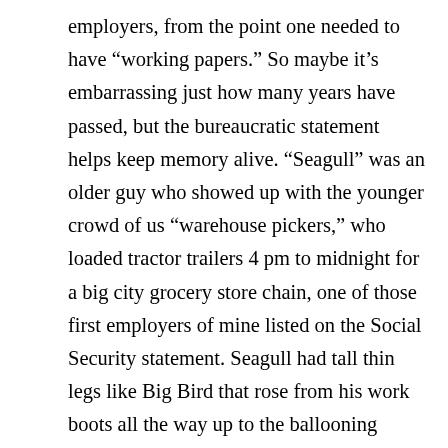employers, from the point one needed to have “working papers.” So maybe it’s embarrassing just how many years have passed, but the bureaucratic statement helps keep memory alive. “Seagull” was an older guy who showed up with the younger crowd of us “warehouse pickers,” who loaded tractor trailers 4 pm to midnight for a big city grocery store chain, one of those first employers of mine listed on the Social Security statement. Seagull had tall thin legs like Big Bird that rose from his work boots all the way up to the ballooning shorts he wore to keep cool. The contour of his legs did not alter but for the knucklelike appearance of his bare knees. He worked comfortably and enjoyed the bit of attention his stature and nickname “Seagull” brought him.